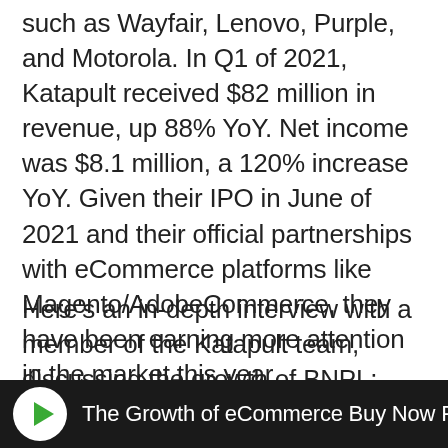such as Wayfair, Lenovo, Purple, and Motorola. In Q1 of 2021, Katapult received $82 million in revenue, up 88% YoY. Net income was $8.1 million, a 120% increase YoY. Given their IPO in June of 2021 and their official partnerships with eCommerce platforms like Magento/AdobeCommerce, they have been earning more attention in the market this year.
Here's an in-depth interview with a member of the Katapult team, discussing the growth of BNPL:
[Figure (screenshot): Video thumbnail banner with dark background, a circular play button icon with 'i' symbol, and text 'The Growth of eCommerce Buy Now Pay Late']